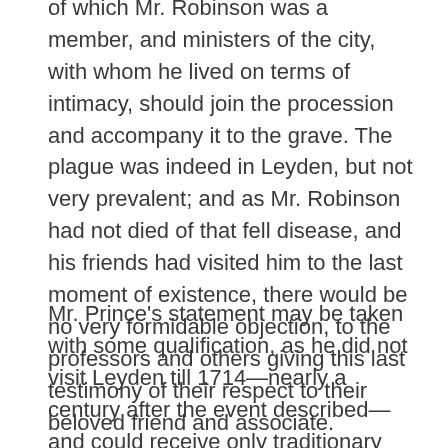of which Mr. Robinson was a member, and ministers of the city, with whom he lived on terms of intimacy, should join the procession and accompany it to the grave. The plague was indeed in Leyden, but not very prevalent; and as Mr. Robinson had not died of that fell disease, and his friends had visited him to the last moment of existence, there would be no very formidable objection, to the professors and others giving this last testimony of their respect to their beloved friend and associate.
Mr. Prince's statement may be taken with some qualification, as he did not visit Leyden till 1714—nearly a century after the event described—and could receive only traditionary